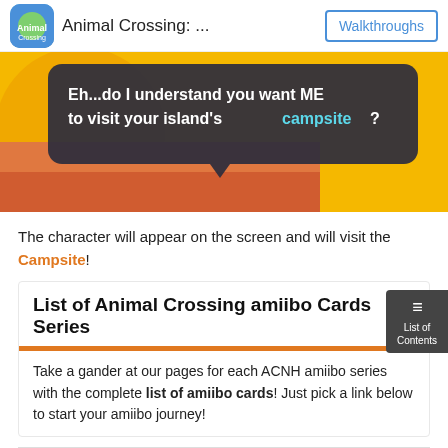Animal Crossing: ...  |  Walkthroughs
[Figure (screenshot): Animal Crossing game screenshot showing a speech bubble with text: 'Eh...do I understand you want ME to visit your island's campsite?' on a colorful background with yellow and orange tones.]
The character will appear on the screen and will visit the Campsite!
List of Animal Crossing amiibo Cards Series
Take a gander at our pages for each ACNH amiibo series with the complete list of amiibo cards! Just pick a link below to start your amiibo journey!
[Figure (photo): Three columns of Animal Crossing amiibo card images showing series 1, 2, and 3 card packs with colorful animal character art]